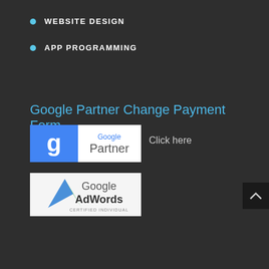WEBSITE DESIGN
APP PROGRAMMING
Google Partner Change Payment Form
[Figure (logo): Google Partner badge logo with blue background and stylized 'g' icon]
Click here
[Figure (logo): Google AdWords Certified Individual badge with blue/green triangle icon]